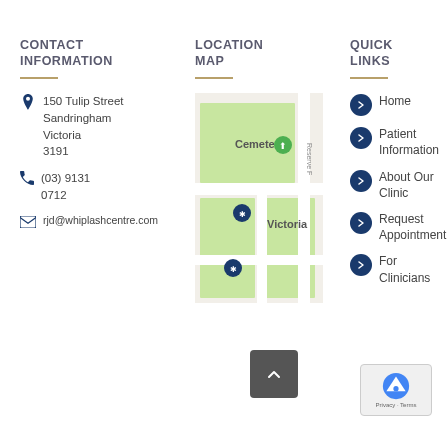CONTACT INFORMATION
LOCATION MAP
QUICK LINKS
150 Tulip Street Sandringham Victoria 3191
(03) 9131 0712
rjd@whiplashcentre.com
[Figure (map): Street map showing location near Cemetery, Victoria, with map pins marking the clinic location at 150 Tulip Street Sandringham]
Home
Patient Information
About Our Clinic
Request Appointment
For Clinicians